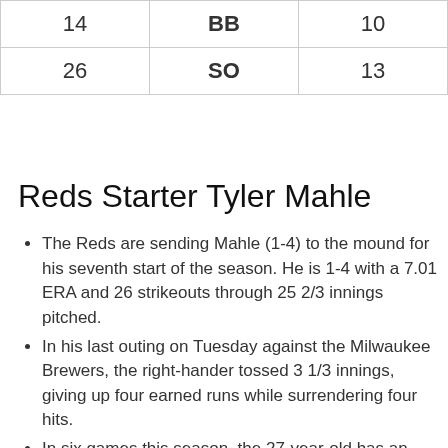|  |  |  |
| --- | --- | --- |
| 14 | BB | 10 |
| 26 | SO | 13 |
Reds Starter Tyler Mahle
The Reds are sending Mahle (1-4) to the mound for his seventh start of the season. He is 1-4 with a 7.01 ERA and 26 strikeouts through 25 2/3 innings pitched.
In his last outing on Tuesday against the Milwaukee Brewers, the right-hander tossed 3 1/3 innings, giving up four earned runs while surrendering four hits.
In six games this season, the 27-year-old has an ERA of 7.01, with 9.1 strikeouts per nine innings. Opponents are batting .286 against him.
Mahle has not recorded a quality start so far this season.